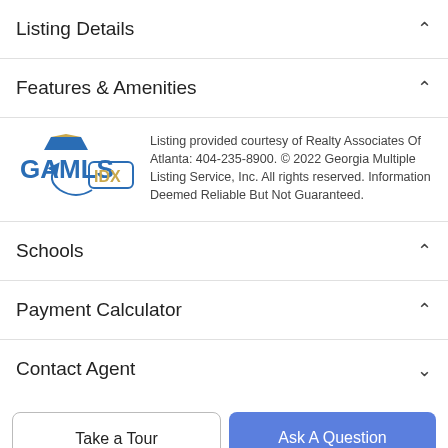Listing Details
Features & Amenities
Listing provided courtesy of Realty Associates Of Atlanta: 404-235-8900. © 2022 Georgia Multiple Listing Service, Inc. All rights reserved. Information Deemed Reliable But Not Guaranteed.
Schools
Payment Calculator
Contact Agent
Take a Tour
Ask A Question